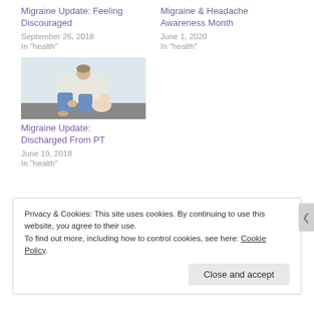Migraine Update: Feeling Discouraged
September 26, 2018
In "health"
Migraine & Headache Awareness Month
June 1, 2020
In "health"
[Figure (photo): Person sitting on floor with baby, viewed from above, wearing jeans and light top]
Migraine Update: Discharged From PT
June 19, 2018
In "health"
Privacy & Cookies: This site uses cookies. By continuing to use this website, you agree to their use. To find out more, including how to control cookies, see here: Cookie Policy
Close and accept